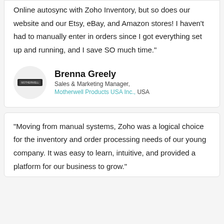Online autosync with Zoho Inventory, but so does our website and our Etsy, eBay, and Amazon stores! I haven't had to manually enter in orders since I got everything set up and running, and I save SO much time."
[Figure (logo): Circular avatar with Motherwell Products USA Inc. logo inside]
Brenna Greely
Sales & Marketing Manager, Motherwell Products USA Inc., USA
"Moving from manual systems, Zoho was a logical choice for the inventory and order processing needs of our young company. It was easy to learn, intuitive, and provided a platform for our business to grow."